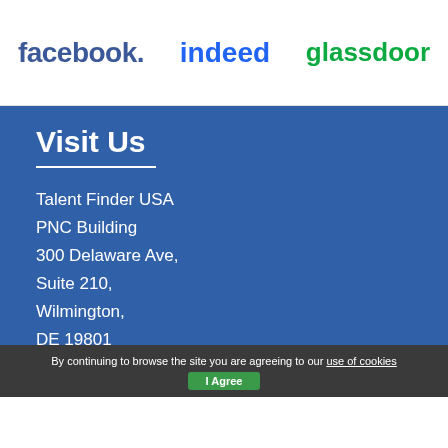[Figure (logo): Facebook logo in dark blue bold sans-serif font]
[Figure (logo): Indeed logo in blue bold sans-serif font with dot above i]
[Figure (logo): Glassdoor logo in green bold sans-serif font]
Visit Us
Talent Finder USA
PNC Building
300 Delaware Ave,
Suite 210,
Wilmington,
DE 19801
Get in Touch
By continuing to browse the site you are agreeing to our use of cookies
I Agree